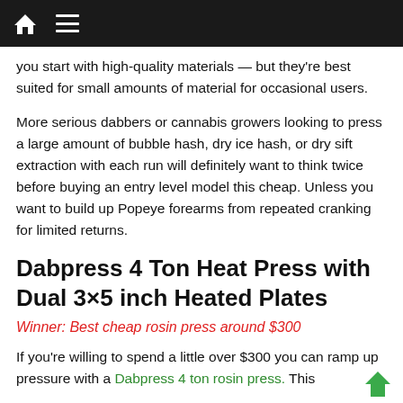Navigation bar with home icon and menu icon
you start with high-quality materials — but they're best suited for small amounts of material for occasional users.
More serious dabbers or cannabis growers looking to press a large amount of bubble hash, dry ice hash, or dry sift extraction with each run will definitely want to think twice before buying an entry level model this cheap. Unless you want to build up Popeye forearms from repeated cranking for limited returns.
Dabpress 4 Ton Heat Press with Dual 3×5 inch Heated Plates
Winner: Best cheap rosin press around $300
If you're willing to spend a little over $300 you can ramp up pressure with a Dabpress 4 ton rosin press. This